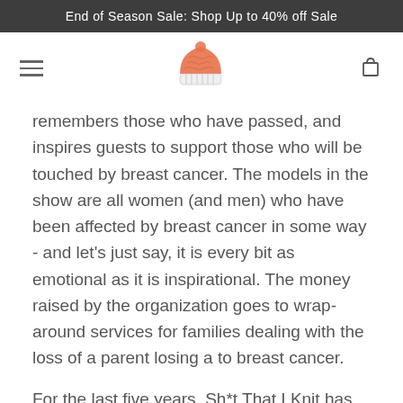End of Season Sale: Shop Up to 40% off Sale
[Figure (logo): Knitted hat logo with orange beanie and striped base]
remembers those who have passed, and inspires guests to support those who will be touched by breast cancer. The models in the show are all women (and men) who have been affected by breast cancer in some way - and let's just say, it is every bit as emotional as it is inspirational. The money raised by the organization goes to wrap-around services for families dealing with the loss of a parent losing a to breast cancer.
For the last five years, Sh*t That I Knit has been a featured vendor at Runway - we bring